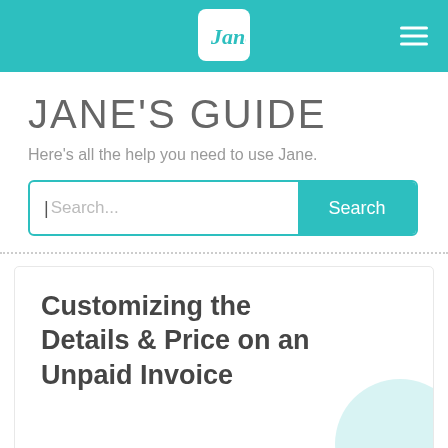Jane logo navigation bar with hamburger menu
JANE'S GUIDE
Here's all the help you need to use Jane.
Search...
Customizing the Details & Price on an Unpaid Invoice
BILLING
> CUSTOMIZING THE DETAILS & PRICE ON AN